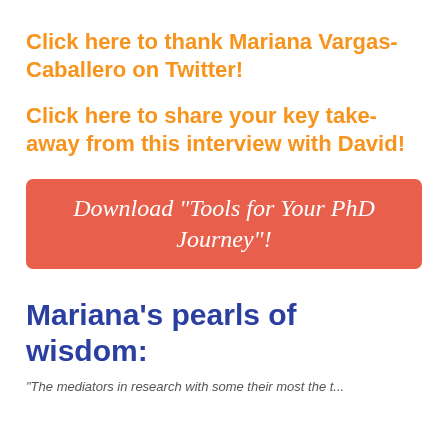Click here to thank Mariana Vargas-Caballero on Twitter!
Click here to share your key take-away from this interview with David!
Download "Tools for Your PhD Journey"!
Mariana's pearls of wisdom:
"The mediators in research with..."